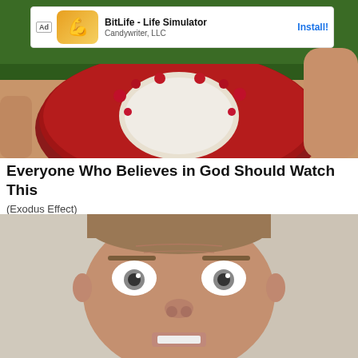[Figure (photo): A hand holding a rambutan fruit split open showing white flesh, with a mobile app advertisement banner overlaid at the top showing 'BitLife - Life Simulator' by Candywriter, LLC with an Install button]
Everyone Who Believes in God Should Watch This
(Exodus Effect)
[Figure (photo): Close-up photo of a man's face with wide surprised eyes looking directly at the camera]